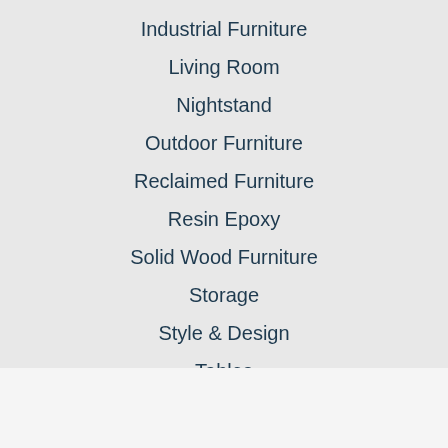Industrial Furniture
Living Room
Nightstand
Outdoor Furniture
Reclaimed Furniture
Resin Epoxy
Solid Wood Furniture
Storage
Style & Design
Tables
Tools